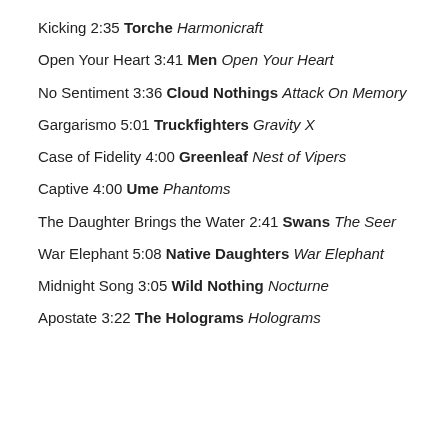Kicking 2:35 Torche Harmonicraft
Open Your Heart 3:41 Men Open Your Heart
No Sentiment 3:36 Cloud Nothings Attack On Memory
Gargarismo 5:01 Truckfighters Gravity X
Case of Fidelity 4:00 Greenleaf Nest of Vipers
Captive 4:00 Ume Phantoms
The Daughter Brings the Water 2:41 Swans The Seer
War Elephant 5:08 Native Daughters War Elephant
Midnight Song 3:05 Wild Nothing Nocturne
Apostate 3:22 The Holograms Holograms